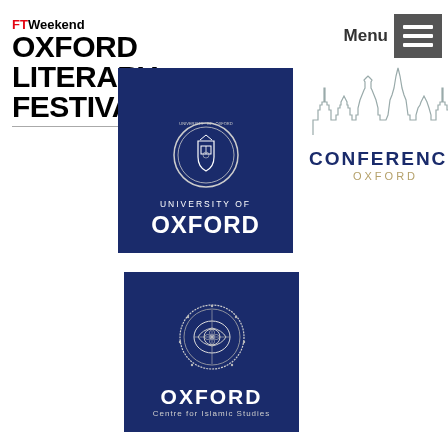[Figure (logo): FT Weekend Oxford Literary Festival logo — FTWeekend in red/black text above OXFORD LITERARY FESTIVAL in large bold black text]
[Figure (logo): Menu button with hamburger icon]
[Figure (logo): University of Oxford logo — dark navy blue square with Oxford shield/seal and text UNIVERSITY OF OXFORD in white]
[Figure (logo): Conference Oxford logo — Oxford skyline outline above text CONFERENCE OXFORD]
[Figure (logo): Oxford Centre for Islamic Studies logo — navy blue square with decorative circular emblem and text OXFORD Centre for Islamic Studies in white]